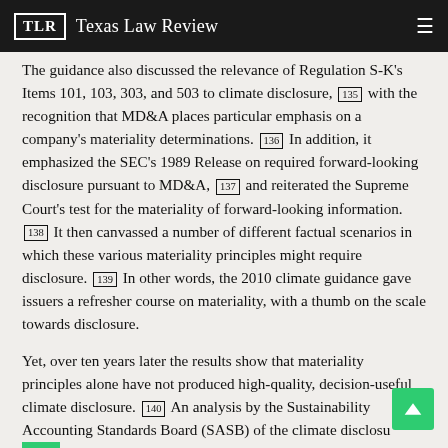TLR Texas Law Review
The guidance also discussed the relevance of Regulation S-K's Items 101, 103, 303, and 503 to climate disclosure, [135] with the recognition that MD&A places particular emphasis on a company's materiality determinations. [136] In addition, it emphasized the SEC's 1989 Release on required forward-looking disclosure pursuant to MD&A, [137] and reiterated the Supreme Court's test for the materiality of forward-looking information. [138] It then canvassed a number of different factual scenarios in which these various materiality principles might require disclosure. [139] In other words, the 2010 climate guidance gave issuers a refresher course on materiality, with a thumb on the scale towards disclosure.
Yet, over ten years later the results show that materiality principles alone have not produced high-quality, decision-useful climate disclosure. [140] An analysis by the Sustainability Accounting Standards Board (SASB) of the climate disclosure in the 10-Ks of the ten largest companies by revenue in each